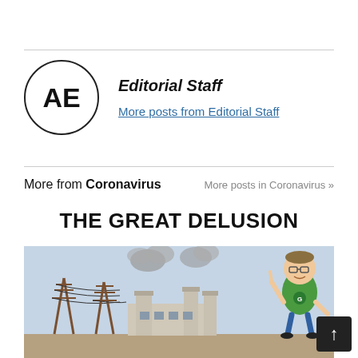Editorial Staff
More posts from Editorial Staff
More from Coronavirus
More posts in Coronavirus »
THE GREAT DELUSION
[Figure (illustration): Cartoon illustration showing industrial factory with smokestacks emitting smoke, power line pylons on the left, and a character in a green shirt pointing upward on the right side.]